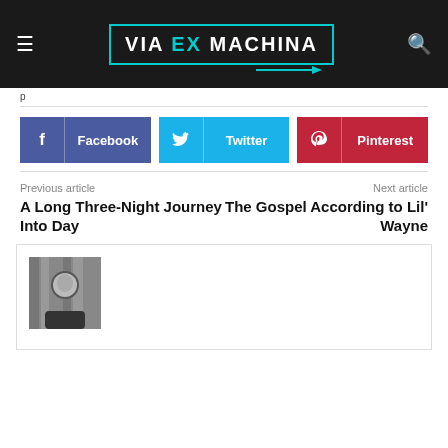VIA EX MACHINA
p
[Figure (logo): Via Ex Machina logo with teal border, white bold text, and teal arrow]
[Figure (other): Facebook, Twitter, and Pinterest social share buttons]
Previous article
A Long Three-Night Journey Into Day
Next article
The Gospel According to Lil' Wayne
[Figure (photo): Black and white photo of a person in dark clothing looking slightly downward]